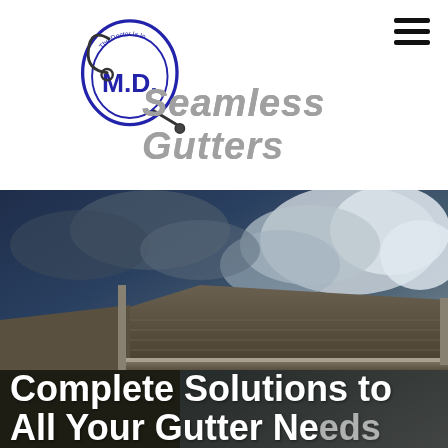[Figure (logo): M.D. Seamless Gutters logo with circular stethoscope badge and italic metallic text]
[Figure (photo): Hero photo of a residential home roofline with gutters against a dramatic cloudy sky, partially cropped. Overlaid bold white text reads 'Complete Solutions to All Your Gutter Needs']
Complete Solutions to All Your Gutter Needs